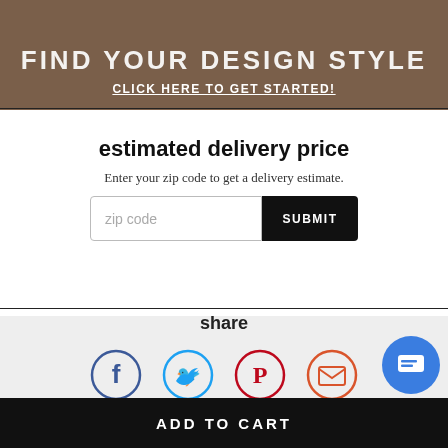[Figure (screenshot): Top banner with dark brown background showing 'FIND YOUR DESIGN STYLE' heading and 'CLICK HERE TO GET STARTED!' link]
estimated delivery price
Enter your zip code to get a delivery estimate.
zip code  SUBMIT
share
[Figure (infographic): Row of social share icons: Facebook (blue circle), Twitter (light blue circle), Pinterest (red circle), Email (orange circle)]
ADD TO CART